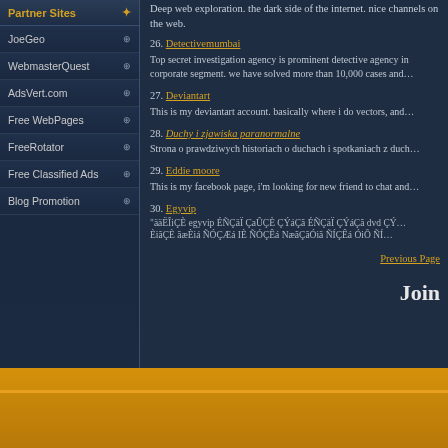Deep web exploration. the dark side of the internet. nice channels on the web.
26. Detectivemumbai - Top secret investigation agency is prominent detective agency in corporate segment. we have solved more than 10,000 cases and...
27. Deviantart - This is my deviantart account. basically where i do vectors, and...
28. Duchy i zjawiska paranormalne - Strona o prawdziwych historiach o duchach i spotkaniach z duch...
29. Eddie moore - This is my facebook page, i'm looking for new friend to chat and...
30. Egyvip - "ääËÎiÇÈ egyvip ÉÑÇäÏ ÇaÛÇÈ ÇÝáÇã ÉÑÇäÏ ÇÝáÇã dvd ÇÝ... ÈiãÇÈ ãæÈiá ÑÓÇÆá IÈ ÑÓÇÊá NæãÇãÓiã ÑÍÇÊá ÓiÔ ÑÍ...
Previous Page
Join